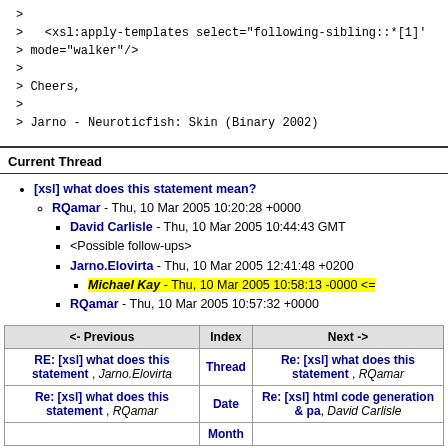> 
>    <xsl:apply-templates select="following-sibling::*[1]'
> mode="walker"/>
>
> Cheers,
>
> Jarno - Neuroticfish: Skin (Binary 2002)
Current Thread
[xsl] what does this statement mean?
RQamar - Thu, 10 Mar 2005 10:20:28 +0000
David Carlisle - Thu, 10 Mar 2005 10:44:43 GMT
<Possible follow-ups>
Jarno.Elovirta - Thu, 10 Mar 2005 12:41:48 +0200
Michael Kay - Thu, 10 Mar 2005 10:58:13 -0000 <=
RQamar - Thu, 10 Mar 2005 10:57:32 +0000
| <- Previous | Index | Next -> |
| --- | --- | --- |
| RE: [xsl] what does this statement , Jarno.Elovirta | Thread | Re: [xsl] what does this statement , RQamar |
| Re: [xsl] what does this statement , RQamar | Date | Re: [xsl] html code generation & pa, David Carlisle |
|  | Month |  |